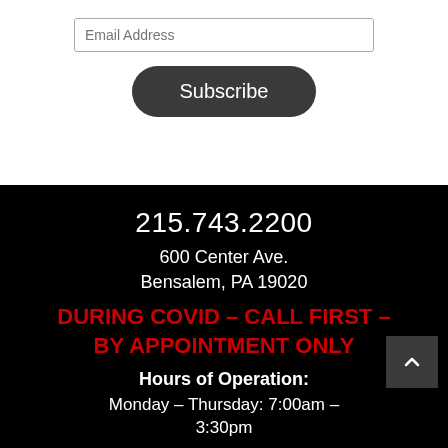[Figure (screenshot): Email address input field with placeholder text 'Email Address']
[Figure (screenshot): Dark rounded Subscribe button]
215.743.2200
600 Center Ave.
Bensalem, PA 19020
During COVID – CALL FIRST – BY APPOINTMENT ONLY
Hours of Operation:
Monday – Thursday: 7:00am – 3:30pm